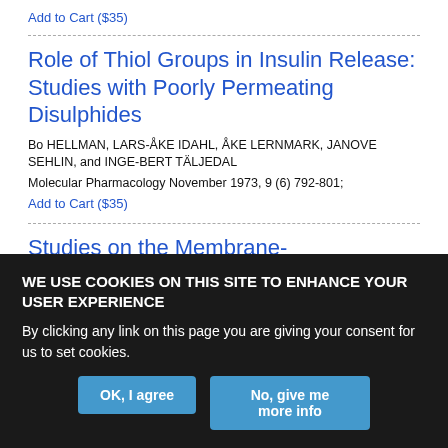Add to Cart ($35)
Role of Thiol Groups in Insulin Release: Studies with Poorly Permeating Disulphides
Bo HELLMAN, LARS-ÅKE IDAHL, ÅKE LERNMARK, JANOVE SEHLIN, and INGE-BERT TÄLJEDAL
Molecular Pharmacology November 1973, 9 (6) 792-801;
Add to Cart ($35)
Studies on the Membrane-Perturbational Effects of Drugs and Divalent Cations
WE USE COOKIES ON THIS SITE TO ENHANCE YOUR USER EXPERIENCE
By clicking any link on this page you are giving your consent for us to set cookies.
OK, I agree
No, give me more info